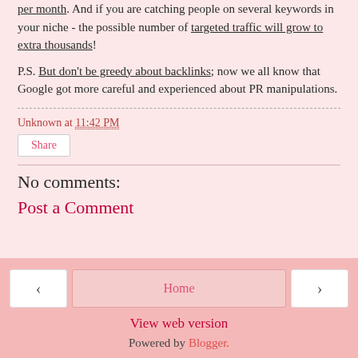per month. And if you are catching people on several keywords in your niche - the possible number of targeted traffic will grow to extra thousands!
P.S. But don't be greedy about backlinks; now we all know that Google got more careful and experienced about PR manipulations.
Unknown at 11:42 PM
Share
No comments:
Post a Comment
‹
Home
›
View web version
Powered by Blogger.